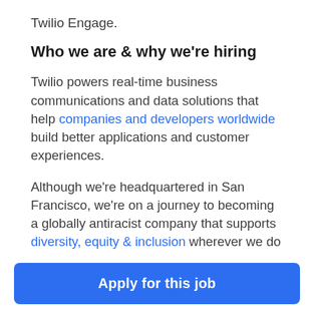Twilio Engage.
Who we are & why we're hiring
Twilio powers real-time business communications and data solutions that help companies and developers worldwide build better applications and customer experiences.
Although we're headquartered in San Francisco, we're on a journey to becoming a globally antiracist company that supports diversity, equity & inclusion wherever we do business. We employ thousands of Twilions worldwide, and
Apply for this job